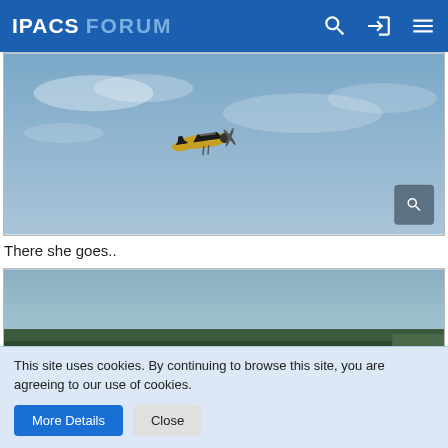IPACS FORUM
[Figure (screenshot): Flight simulator screenshot showing a small propeller aircraft flying in a blue sky with light clouds]
There she goes..
[Figure (screenshot): Flight simulator screenshot showing an aerial view of agricultural fields and forests from behind a yellow aircraft tail]
This site uses cookies. By continuing to browse this site, you are agreeing to our use of cookies.